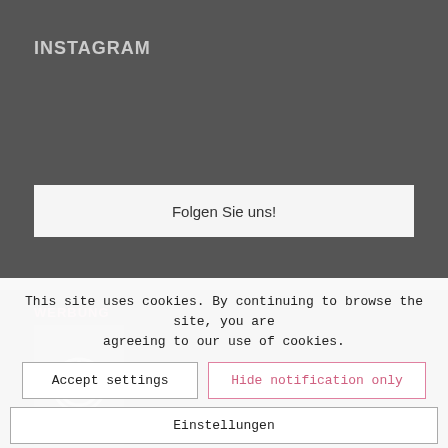INSTAGRAM
Folgen Sie uns!
WERBUNG
This site uses cookies. By continuing to browse the site, you are agreeing to our use of cookies.
Accept settings
Hide notification only
Einstellungen